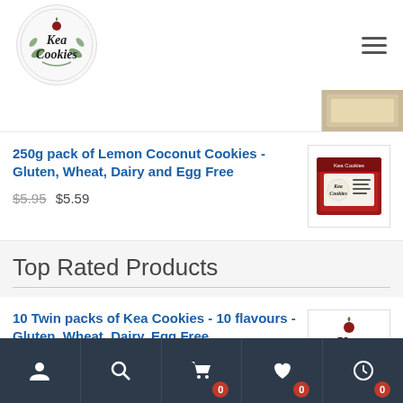[Figure (logo): Kea Cookies circular logo with decorative leaves and red berry]
250g pack of Lemon Coconut Cookies - Gluten, Wheat, Dairy and Egg Free
$5.95 $5.59
[Figure (photo): Product box of Kea Cookies Lemon Coconut]
Top Rated Products
10 Twin packs of Kea Cookies - 10 flavours - Gluten, Wheat, Dairy, Egg Free
[Figure (logo): Kea Cookies logo on white background]
Nav icons: user, search, cart (0), heart (0), clock (0)